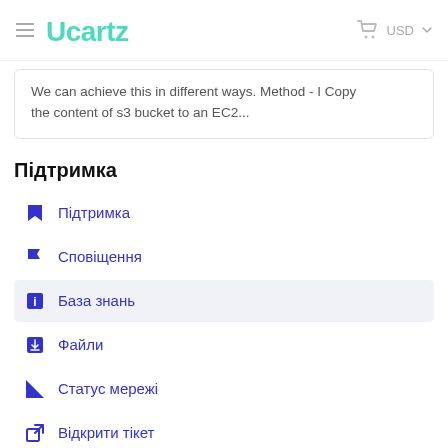Ucartz  USD
We can achieve this in different ways. Method - I Copy the content of s3 bucket to an EC2...
Підтримка
Підтримка
Сповіщення
База знань
Файли
Статус мережі
Відкрити тікет